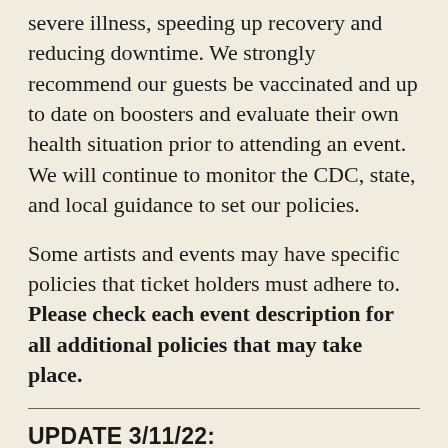severe illness, speeding up recovery and reducing downtime. We strongly recommend our guests be vaccinated and up to date on boosters and evaluate their own health situation prior to attending an event. We will continue to monitor the CDC, state, and local guidance to set our policies.
Some artists and events may have specific policies that ticket holders must adhere to. Please check each event description for all additional policies that may take place.
UPDATE 3/11/22:
Even though the state indoor mask mandate is being lifted on March 12, the